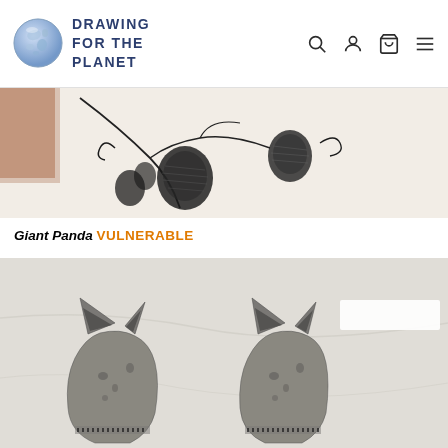DRAWING FOR THE PLANET
[Figure (photo): Partial view of a drawing showing dark botanical/seed pod forms in charcoal on white paper, with a reddish-brown element at top left]
Giant Panda VULNERABLE
[Figure (photo): Black and white photograph of two stylized cat or animal head sculptures side by side, with pointed ears and textured surfaces, on a light marble-like background]